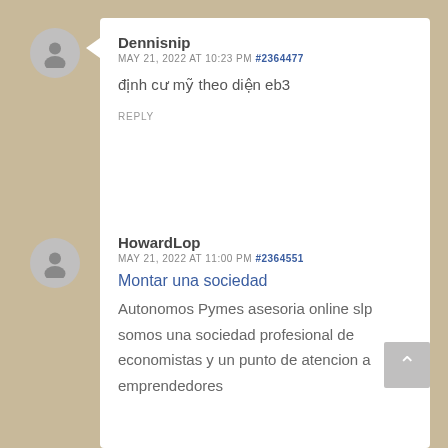Dennisnip
MAY 21, 2022 AT 10:23 PM #2364477
định cư mỹ theo diện eb3
REPLY
HowardLop
MAY 21, 2022 AT 11:00 PM #2364551
Montar una sociedad
Autonomos Pymes asesoria online slp somos una sociedad profesional de economistas y un punto de atencion a emprendedores